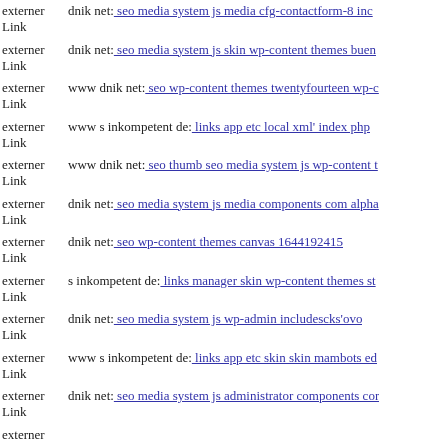externer Link dnik net: seo media system js media cfg-contactform-8 inc
externer Link dnik net: seo media system js skin wp-content themes buen
externer Link www dnik net: seo wp-content themes twentyfourteen wp-c
externer Link www s inkompetent de: links app etc local xml' index php
externer Link www dnik net: seo thumb seo media system js wp-content t
externer Link dnik net: seo media system js media components com alpha
externer Link dnik net: seo wp-content themes canvas 1644192415
externer Link s inkompetent de: links manager skin wp-content themes st
externer Link dnik net: seo media system js wp-admin includescks'ovo
externer Link www s inkompetent de: links app etc skin skin mambots ed
externer Link dnik net: seo media system js administrator components cor
externer Link ...